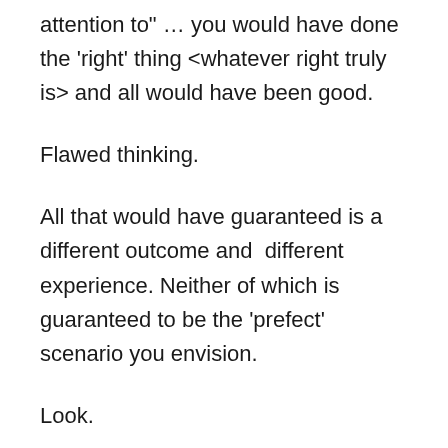attention to" … you would have done the 'right' thing <whatever right truly is> and all would have been good.
Flawed thinking.
All that would have guaranteed is a different outcome and  different experience. Neither of which is guaranteed to be the 'prefect' scenario you envision.
Look.